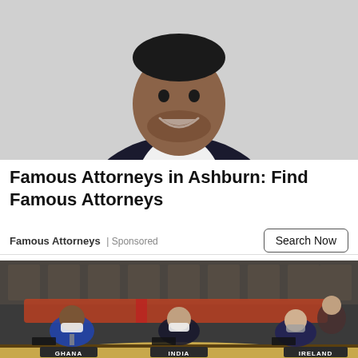[Figure (photo): A smiling man in a dark suit and white shirt, photographed from the torso up against a light gray background.]
Famous Attorneys in Ashburn: Find Famous Attorneys
Famous Attorneys | Sponsored
Search Now
[Figure (photo): UN Security Council chamber showing delegates seated at the curved table with nameplates for Ghana, India, and Ireland. Delegates are wearing face masks. Red chairs and decorative wall panels are visible in the background.]